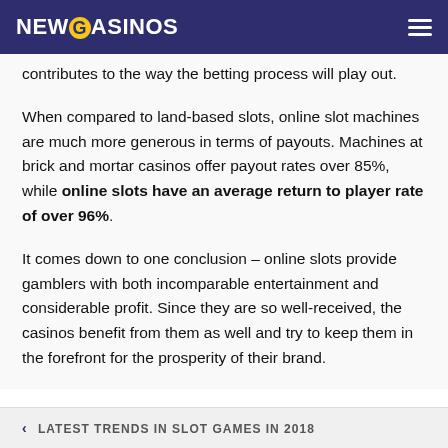NEWCASINOS
contributes to the way the betting process will play out.
When compared to land-based slots, online slot machines are much more generous in terms of payouts. Machines at brick and mortar casinos offer payout rates over 85%, while online slots have an average return to player rate of over 96%.
It comes down to one conclusion – online slots provide gamblers with both incomparable entertainment and considerable profit. Since they are so well-received, the casinos benefit from them as well and try to keep them in the forefront for the prosperity of their brand.
< LATEST TRENDS IN SLOT GAMES IN 2018